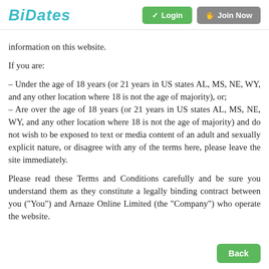BiDates | Login | Join Now
information on this website.
If you are:
– Under the age of 18 years (or 21 years in US states AL, MS, NE, WY, and any other location where 18 is not the age of majority), or;
– Are over the age of 18 years (or 21 years in US states AL, MS, NE, WY, and any other location where 18 is not the age of majority) and do not wish to be exposed to text or media content of an adult and sexually explicit nature, or disagree with any of the terms here, please leave the site immediately.
Please read these Terms and Conditions carefully and be sure you understand them as they constitute a legally binding contract between you ("You") and Arnaze Online Limited (the "Company") who operate the website.